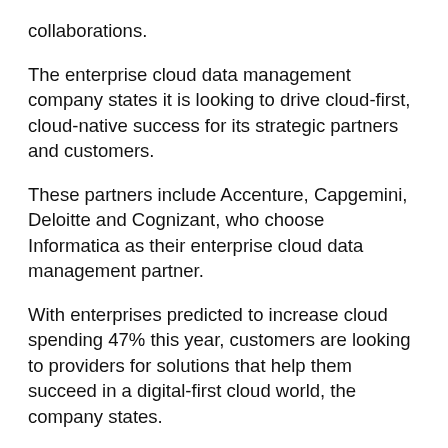collaborations.
The enterprise cloud data management company states it is looking to drive cloud-first, cloud-native success for its strategic partners and customers.
These partners include Accenture, Capgemini, Deloitte and Cognizant, who choose Informatica as their enterprise cloud data management partner.
With enterprises predicted to increase cloud spending 47% this year, customers are looking to providers for solutions that help them succeed in a digital-first cloud world, the company states.
As a result, Informatica partners are tapping IICS to help customers address the challenges of a modern enterprise, whether that's investing in cloud applications, modernising analytics in the cloud, gaining a 360-degree view of their business, or driving data governance and privacy across the